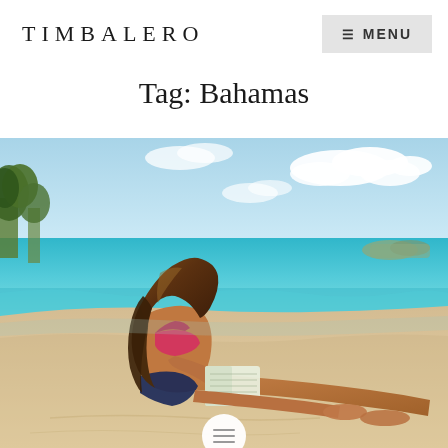TIMBALERO
Tag: Bahamas
[Figure (photo): A woman in a bikini sitting on a sandy beach, reading a book, with turquoise ocean water, white clouds, and palm trees visible in the background. The beach scene appears to be in the Bahamas.]